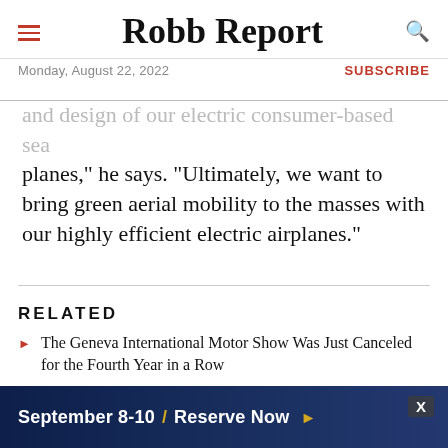Robb Report
Monday, August 22, 2022 | SUBSCRIBE
and design of our electric consumer-based sea planes," he says. "Ultimately, we want to bring green aerial mobility to the masses with our highly efficient electric airplanes."
RELATED
The Geneva International Motor Show Was Just Canceled for the Fourth Year in a Row
You Will Soon Be Able Fly From NYC to DC on a Seaplane–in Under Two Hours
First Drive: Ferrari's Iconoclastic 828 HP Daytona SP3 Is a Return to Fire That Loyalists
[Figure (other): Advertisement banner: September 8-10 / Reserve Now with dark blue background and city skyline]